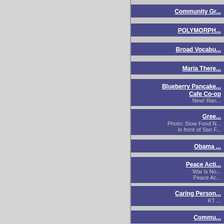Community Gr...
POLYMORPH...
Broad Vocabu...
Maria There...
Blueberry Pancake... Cafe Co-op New! Ran...
Gree... Photo: Slow Food N... in front of San F...
Obama...
Peace Acti... War is No... Peace Ac...
Caring Person... KT...
Commu...